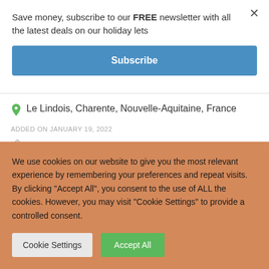Save money, subscribe to our FREE newsletter with all the latest deals on our holiday lets
Subscribe
Le Lindois, Charente, Nouvelle-Aquitaine, France
ADDED ON JANUARY 19, 2022
Gîte
Sleeps 6
We use cookies on our website to give you the most relevant experience by remembering your preferences and repeat visits. By clicking "Accept All", you consent to the use of ALL the cookies. However, you may visit "Cookie Settings" to provide a controlled consent.
Cookie Settings
Accept All